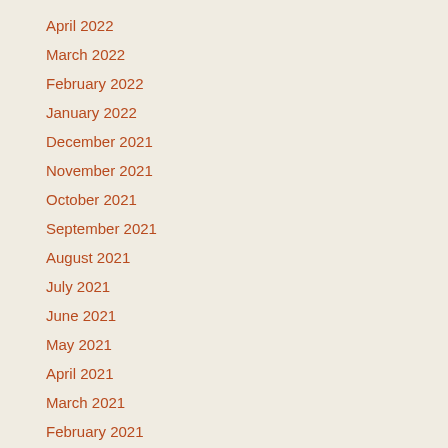April 2022
March 2022
February 2022
January 2022
December 2021
November 2021
October 2021
September 2021
August 2021
July 2021
June 2021
May 2021
April 2021
March 2021
February 2021